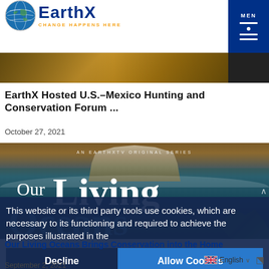EarthX — CHANGE HAPPENS HERE
[Figure (photo): Partial image strip of a hunting/conservation related scene with warm golden tones at top of page]
EarthX Hosted U.S.-Mexico Hunting and Conservation Forum ...
October 27, 2021
[Figure (photo): Our Living Oceans — An EarthXTV Original Series promotional image showing large white yacht/ship emerging from ocean waves with text overlay reading 'AN EARTHXTV ORIGINAL SERIES' and 'Our Living Oceans' in large white and translucent letters over ocean background]
This website or its third party tools use cookies, which are necessary to its functioning and required to achieve the purposes illustrated in the
Decline
Allow Cookies
Our Living Oceans Brings Conservation into the Home
September 2, 2021
English